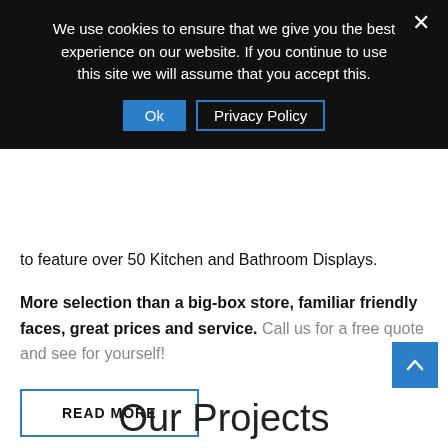We use cookies to ensure that we give you the best experience on our website. If you continue to use this site we will assume that you accept this.
Ok | Privacy Policy
to feature over 50 Kitchen and Bathroom Displays.
More selection than a big-box store, familiar friendly faces, great prices and service. Call us for a free quote and see for yourself!
READ MORE
Our Projects